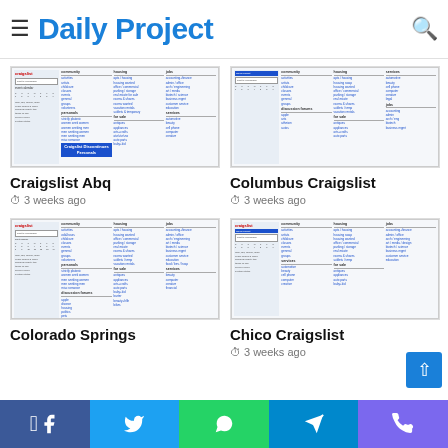Daily Project
[Figure (screenshot): Craigslist Abq webpage thumbnail showing craigslist homepage layout]
Craigslist Abq
3 weeks ago
[Figure (screenshot): Columbus Craigslist webpage thumbnail showing craigslist homepage layout]
Columbus Craigslist
3 weeks ago
[Figure (screenshot): Colorado Springs Craigslist webpage thumbnail showing craigslist homepage layout]
Colorado Springs
[Figure (screenshot): Chico Craigslist webpage thumbnail showing craigslist homepage layout]
Chico Craigslist
3 weeks ago